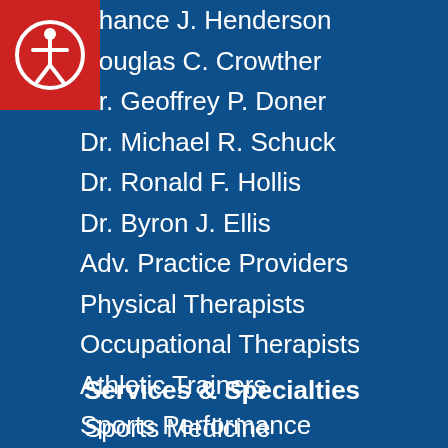[Figure (logo): Accessibility icon — white circle with person figure on red square background]
Chance J. Henderson
Douglas C. Crowther
Dr. Geoffrey P. Doner
Dr. Michael R. Schuck
Dr. Ronald F. Hollis
Dr. Byron J. Ellis
Adv. Practice Providers
Physical Therapists
Occupational Therapists
Athletic Trainers
Sports Performance
Services & Specialties
Sports Medicine